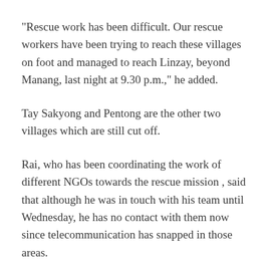"Rescue work has been difficult. Our rescue workers have been trying to reach these villages on foot and managed to reach Linzay, beyond Manang, last night at 9.30 p.m.," he added.
Tay Sakyong and Pentong are the other two villages which are still cut off.
Rai, who has been coordinating the work of different NGOs towards the rescue mission , said that although he was in touch with his team until Wednesday, he has no contact with them now since telecommunication has snapped in those areas.